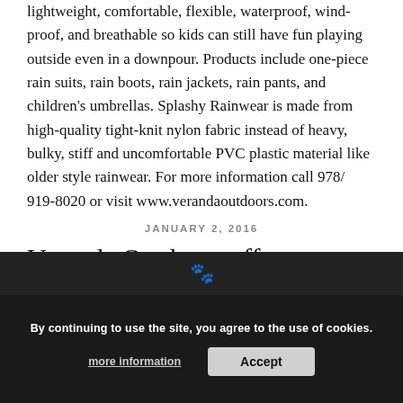lightweight, comfortable, flexible, waterproof, windproof, and breathable so kids can still have fun playing outside even in a downpour. Products include one-piece rain suits, rain boots, rain jackets, rain pants, and children's umbrellas. Splashy Rainwear is made from high-quality tight-knit nylon fabric instead of heavy, bulky, stiff and uncomfortable PVC plastic material like older style rainwear. For more information call 978/919-8020 or visit www.verandaoutdoors.com.
JANUARY 2, 2016
Veranda Outdoors offers Snowstopers® mittens, gloves
[Figure (photo): Dark background photo strip with faint paw/animal icon visible at bottom of page]
By continuing to use the site, you agree to the use of cookies. more information  Accept